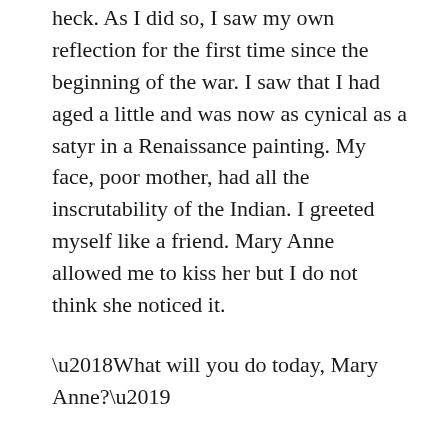heck. As I did so, I saw my own reflection for the first time since the beginning of the war. I saw that I had aged a little and was now as cynical as a satyr in a Renaissance painting. My face, poor mother, had all the inscrutability of the Indian. I greeted myself like a friend. Mary Anne allowed me to kiss her but I do not think she noticed it.
‘What will you do today, Mary Anne?’
‘Today, I shall play the piano, of course. Unless I think of something better to do, that is.’
And I do not know if, for a moment, I saw another person glance briefly out of her eyes for I am not looking at her in the mirror, and